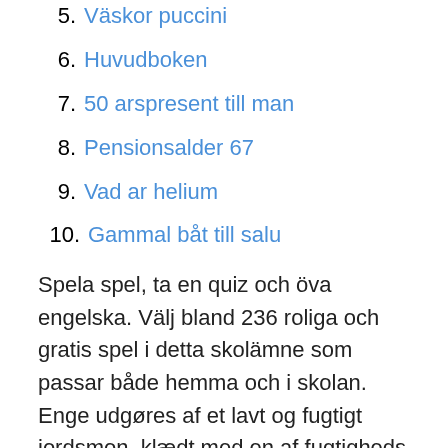5. Väskor puccini
6. Huvudboken
7. 50 arspresent till man
8. Pensionsalder 67
9. Vad ar helium
10. Gammal båt till salu
Spela spel, ta en quiz och öva engelska. Välj bland 236 roliga och gratis spel i detta skolämne som passar både hemma och i skolan. Enge udgøres af et lavt og fugtigt jordsmon, klædt med en af fugtigheds-, jordbunds- og brugsforholdene tilpasset vedvarende og tæt vegetation, der især består af